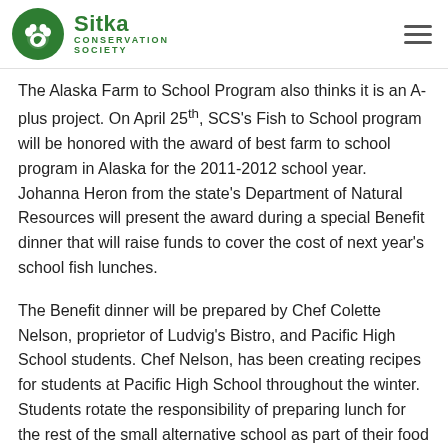Sitka Conservation Society
The Alaska Farm to School Program also thinks it is an A-plus project. On April 25th, SCS's Fish to School program will be honored with the award of best farm to school program in Alaska for the 2011-2012 school year. Johanna Heron from the state's Department of Natural Resources will present the award during a special Benefit dinner that will raise funds to cover the cost of next year's school fish lunches.
The Benefit dinner will be prepared by Chef Colette Nelson, proprietor of Ludvig's Bistro, and Pacific High School students. Chef Nelson, has been creating recipes for students at Pacific High School throughout the winter. Students rotate the responsibility of preparing lunch for the rest of the small alternative school as part of their food